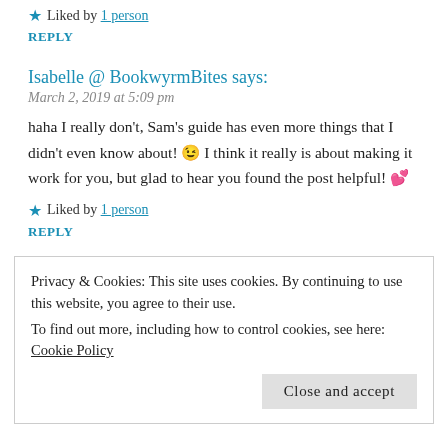Liked by 1 person
REPLY
Isabelle @ BookwyrmBites says:
March 2, 2019 at 5:09 pm
haha I really don't, Sam's guide has even more things that I didn't even know about! 😉 I think it really is about making it work for you, but glad to hear you found the post helpful! 💕
Liked by 1 person
REPLY
Privacy & Cookies: This site uses cookies. By continuing to use this website, you agree to their use. To find out more, including how to control cookies, see here: Cookie Policy
Close and accept